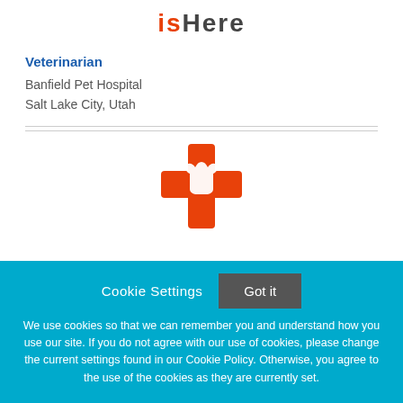[Figure (logo): isHere logo with orange and gray text]
Veterinarian
Banfield Pet Hospital
Salt Lake City, Utah
[Figure (logo): Banfield Pet Hospital orange cross logo with dog/cat silhouette]
Cookie Settings
Got it
We use cookies so that we can remember you and understand how you use our site. If you do not agree with our use of cookies, please change the current settings found in our Cookie Policy. Otherwise, you agree to the use of the cookies as they are currently set.